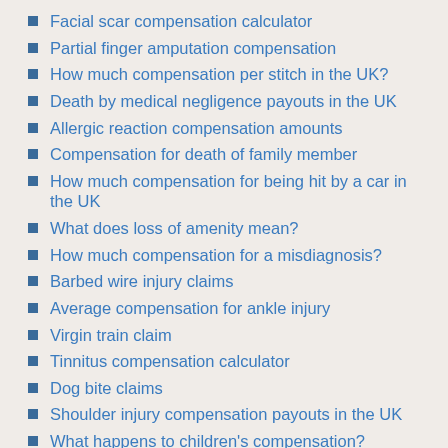Facial scar compensation calculator
Partial finger amputation compensation
How much compensation per stitch in the UK?
Death by medical negligence payouts in the UK
Allergic reaction compensation amounts
Compensation for death of family member
How much compensation for being hit by a car in the UK
What does loss of amenity mean?
How much compensation for a misdiagnosis?
Barbed wire injury claims
Average compensation for ankle injury
Virgin train claim
Tinnitus compensation calculator
Dog bite claims
Shoulder injury compensation payouts in the UK
What happens to children's compensation?
Average compensation payout for a knee injury
Average payout for a slip and fall in the UK